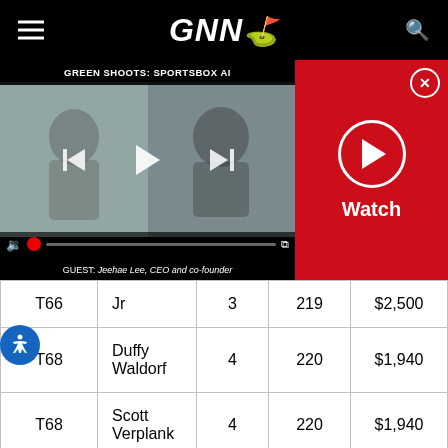[Figure (screenshot): GNN golf news website header navigation bar with hamburger menu, GNN logo, and search icon on black background]
[Figure (screenshot): Video player showing 'GREEN SHOOTS: SPORTSBOX AI' with two people (woman on left, man on right), video controls, and guest label 'GUEST: Jeehae Lee, CEO and co-founder'. Red panel on right with Watch button and close X.]
| Position | Name | Rounds | Score | Earnings |
| --- | --- | --- | --- | --- |
| T66 | Jr | 3 | 219 | $2,500 |
| T68 | Duffy
Waldorf | 4 | 220 | $1,940 |
| T68 | Scott
Verplank | 4 | 220 | $1,940 |